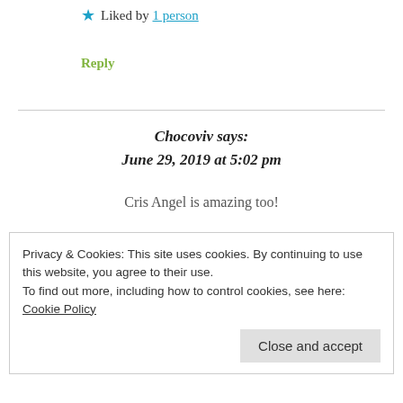★ Liked by 1 person
Reply
Chocoviv says: June 29, 2019 at 5:02 pm
Cris Angel is amazing too!
Privacy & Cookies: This site uses cookies. By continuing to use this website, you agree to their use.
To find out more, including how to control cookies, see here: Cookie Policy
Close and accept